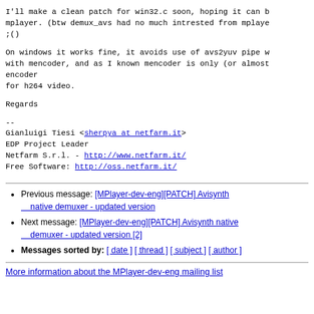I'll make a clean patch for win32.c soon, hoping it can be merged in mplayer. (btw demux_avs had no much intrested from mplayer side ;()
On windows it works fine, it avoids use of avs2yuv pipe with mencoder, and as I known mencoder is only (or almost) encoder
for h264 video.
Regards
--
Gianluigi Tiesi <sherpya at netfarm.it>
EDP Project Leader
Netfarm S.r.l. - http://www.netfarm.it/
Free Software: http://oss.netfarm.it/
Previous message: [MPlayer-dev-eng][PATCH] Avisynth native demuxer - updated version
Next message: [MPlayer-dev-eng][PATCH] Avisynth native demuxer - updated version [2]
Messages sorted by: [ date ] [ thread ] [ subject ] [ author ]
More information about the MPlayer-dev-eng mailing list